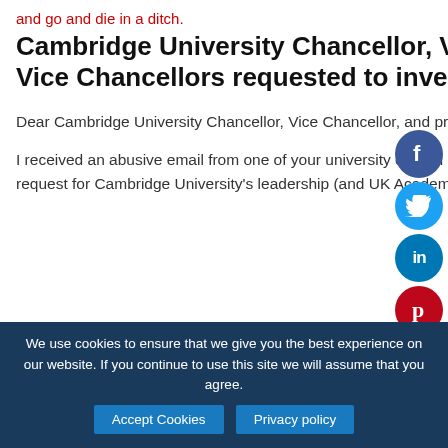and go and die in a ditch.
Cambridge University Chancellor, Vice Chancellor, and pro-Vice Chancellors requested to investigate abuse
Dear Cambridge University Chancellor, Vice Chancellor, and pro-Vice Chancellors
I received an abusive email from one of your university council members last week, resulting from my request for Cambridge University's leadership (and UK Academia) to investigate the IPCC's corruption of
We use cookies to ensure that we give you the best experience on our website. If you continue to use this site we will assume that you agree.